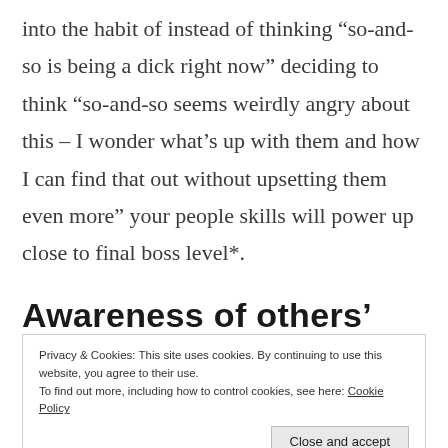into the habit of instead of thinking “so-and-so is being a dick right now” deciding to think “so-and-so seems weirdly angry about this – I wonder what’s up with them and how I can find that out without upsetting them even more” your people skills will power up close to final boss level*.
Awareness of others’
Privacy & Cookies: This site uses cookies. By continuing to use this website, you agree to their use.
To find out more, including how to control cookies, see here: Cookie Policy
with the people in the rooms next to mine